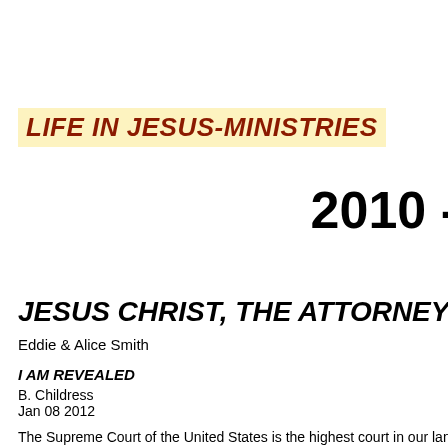LIFE IN JESUS-MINISTRIES
2010 -
JESUS CHRIST, THE ATTORNEY OF R…
Eddie & Alice Smith
I AM REVEALED
B. Childress
Jan 08 2012
The Supreme Court of the United States is the highest court in our land…